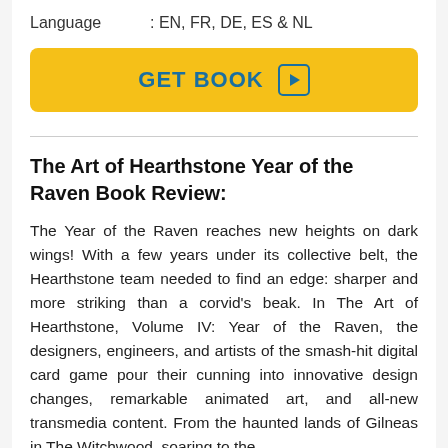Language : EN, FR, DE, ES & NL
GET BOOK
The Art of Hearthstone Year of the Raven Book Review:
The Year of the Raven reaches new heights on dark wings! With a few years under its collective belt, the Hearthstone team needed to find an edge: sharper and more striking than a corvid's beak. In The Art of Hearthstone, Volume IV: Year of the Raven, the designers, engineers, and artists of the smash-hit digital card game pour their cunning into innovative design changes, remarkable animated art, and all-new transmedia content. From the haunted lands of Gilneas in The Witchwood, soaring to the